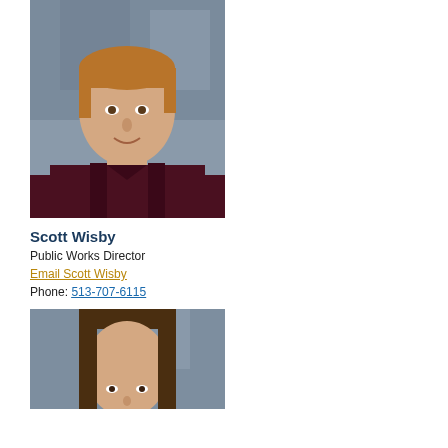[Figure (photo): Professional headshot of a man with short hair wearing a dark maroon/burgundy collared shirt against a grey background]
Scott Wisby
Public Works Director
Email Scott Wisby
Phone: 513-707-6115
[Figure (photo): Professional headshot of a woman with long brown hair against a grey background, partially visible]